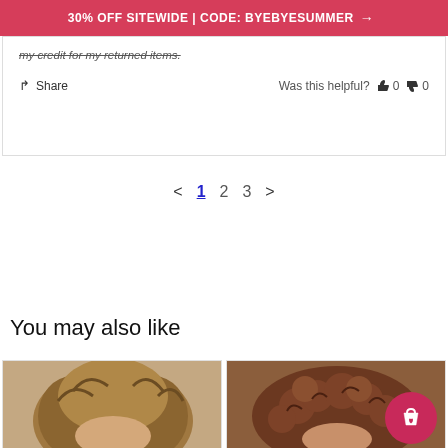30% OFF SITEWIDE | CODE: BYEBYESUMMER →
my credit for my returned items.
Share   Was this helpful?  👍 0  👎 0
< 1 2 3 >
You may also like
[Figure (photo): Two product photos of wigs/hair pieces side by side. Left shows a short brown wig on a model, right shows a curly brown wig on a model with a pink circular cart button overlay.]